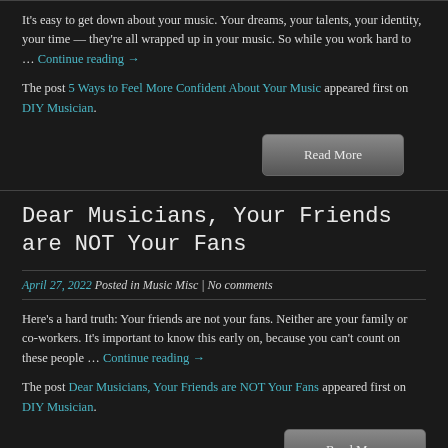It's easy to get down about your music. Your dreams, your talents, your identity, your time — they're all wrapped up in your music. So while you work hard to … Continue reading →
The post 5 Ways to Feel More Confident About Your Music appeared first on DIY Musician.
Dear Musicians, Your Friends are NOT Your Fans
April 27, 2022 Posted in Music Misc | No comments
Here's a hard truth: Your friends are not your fans. Neither are your family or co-workers. It's important to know this early on, because you can't count on these people … Continue reading →
The post Dear Musicians, Your Friends are NOT Your Fans appeared first on DIY Musician.